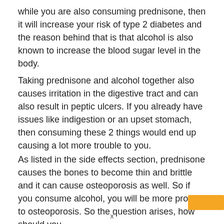while you are also consuming prednisone, then it will increase your risk of type 2 diabetes and the reason behind that is that alcohol is also known to increase the blood sugar level in the body.
Taking prednisone and alcohol together also causes irritation in the digestive tract and can also result in peptic ulcers. If you already have issues like indigestion or an upset stomach, then consuming these 2 things would end up causing a lot more trouble to you.
As listed in the side effects section, prednisone causes the bones to become thin and brittle and it can cause osteoporosis as well. So if you consume alcohol, you will be more prone to osteoporosis. So the question arises, how should you
x